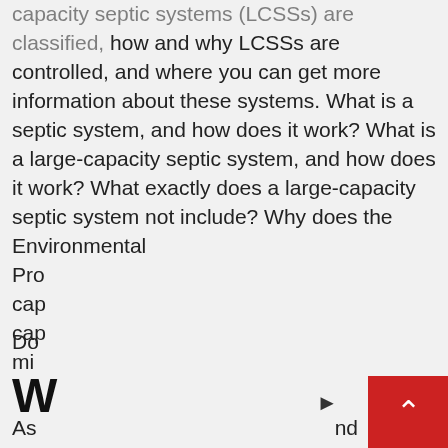capacity septic systems (LCSSs) are classified, how and why LCSSs are controlled, and where you can get more information about these systems. What is a septic system, and how does it work? What is a large-capacity septic system, and how does it work? What exactly does a large-capacity septic system not include? Why does the Environmental Pro cap cap mi
Do
W
As